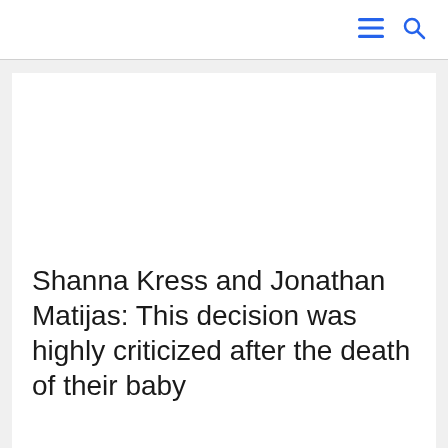☰ 🔍
Shanna Kress and Jonathan Matijas: This decision was highly criticized after the death of their baby